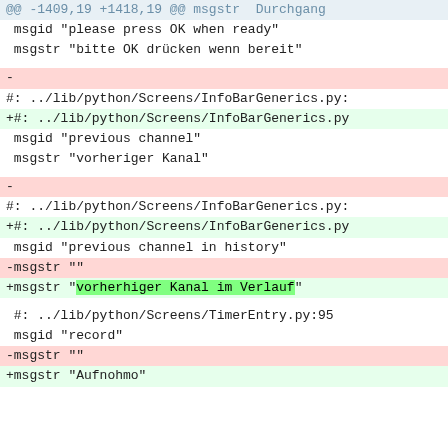@@ -1409,19 +1418,19 @@ msgstr  Durchgang
msgid "please press OK when ready"
 msgstr "bitte OK drücken wenn bereit"
-
#: ../lib/python/Screens/InfoBarGenerics.py:
+#: ../lib/python/Screens/InfoBarGenerics.py
 msgid "previous channel"
 msgstr "vorheriger Kanal"
-
#: ../lib/python/Screens/InfoBarGenerics.py:
+#: ../lib/python/Screens/InfoBarGenerics.py
 msgid "previous channel in history"
-msgstr ""
+msgstr "vorherhiger Kanal im Verlauf"
#: ../lib/python/Screens/TimerEntry.py:95
 msgid "record"
-msgstr ""
+msgstr "Aufnohmo"